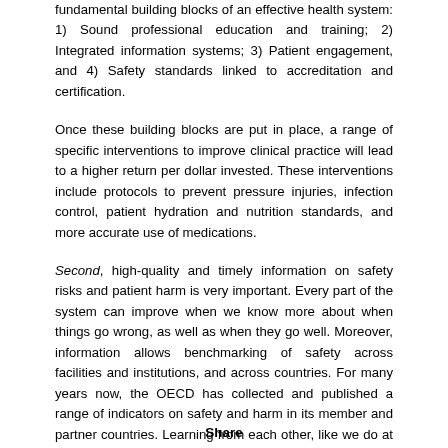fundamental building blocks of an effective health system: 1) Sound professional education and training; 2) Integrated information systems; 3) Patient engagement, and 4) Safety standards linked to accreditation and certification.
Once these building blocks are put in place, a range of specific interventions to improve clinical practice will lead to a higher return per dollar invested. These interventions include protocols to prevent pressure injuries, infection control, patient hydration and nutrition standards, and more accurate use of medications.
Second, high-quality and timely information on safety risks and patient harm is very important. Every part of the system can improve when we know more about when things go wrong, as well as when they go well. Moreover, information allows benchmarking of safety across facilities and institutions, and across countries. For many years now, the OECD has collected and published a range of indicators on safety and harm in its member and partner countries. Learning from each other, like we do at this Summit today, is critical to preventing safety failures.
Third, it is also important to move towards a “no-blame” culture. We should not be pointing fingers at caring and motivated health care professionals who make honest mistakes. Mistakes are made because
Share